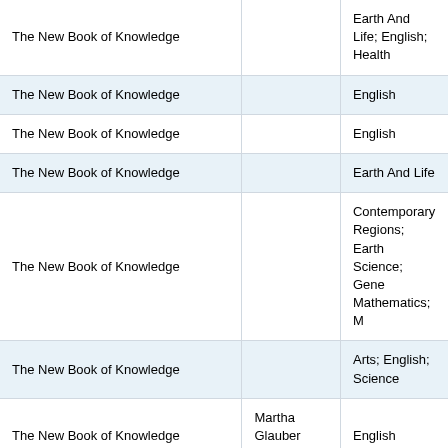| Title | Author | Subject |
| --- | --- | --- |
| The New Book of Knowledge |  | Earth And Life; English; Health |
| The New Book of Knowledge |  | English |
| The New Book of Knowledge |  | English |
| The New Book of Knowledge |  | Earth And Life |
| The New Book of Knowledge |  | Contemporary Regions; Earth Science; General Mathematics; M |
| The New Book of Knowledge |  | Arts; English; Science |
| The New Book of Knowledge | Martha Glauber Shapp, MA | English |
| The New Book of Knowledge |  | ; 21st Century And The World |
| The New Book of Knowledge | Walter Russell |  |